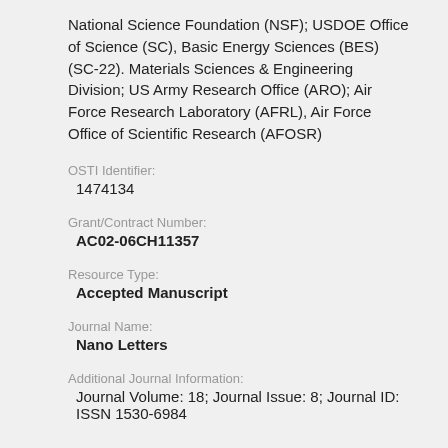National Science Foundation (NSF); USDOE Office of Science (SC), Basic Energy Sciences (BES) (SC-22). Materials Sciences & Engineering Division; US Army Research Office (ARO); Air Force Research Laboratory (AFRL), Air Force Office of Scientific Research (AFOSR)
OSTI Identifier:
1474134
Grant/Contract Number:
AC02-06CH11357
Resource Type:
Accepted Manuscript
Journal Name:
Nano Letters
Additional Journal Information:
Journal Volume: 18; Journal Issue: 8; Journal ID: ISSN 1530-6984